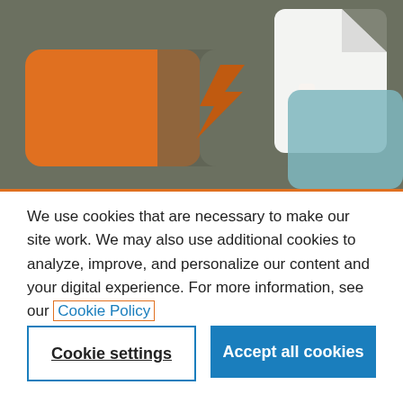[Figure (illustration): A banner illustration with a dark olive/grey background showing an orange battery/power icon with a lightning bolt symbol on the left, and a white and muted teal document/file icon on the right. An orange horizontal line separates the banner from the content below.]
We use cookies that are necessary to make our site work. We may also use additional cookies to analyze, improve, and personalize our content and your digital experience. For more information, see our Cookie Policy
Cookie settings
Accept all cookies